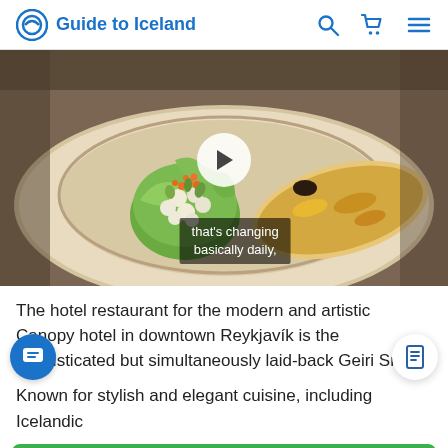Guide to Iceland
[Figure (photo): A bowl of Icelandic cuisine featuring a piece of pan-fried fish fillet and a cabbage cup filled with small round vegetables topped with orange roe, with a video play button overlay and subtitle text reading 'that's changing basically daily,']
The hotel restaurant for the modern and artistic Canopy hotel in downtown Reykjavík is the sophisticated but simultaneously laid-back Geiri Smart.
Known for stylish and elegant cuisine, including Icelandic